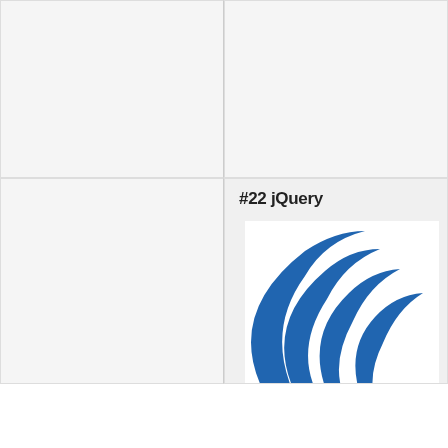NITSAN
[Figure (other): Two empty grid cells in top row with light gray background and borders]
[Figure (other): Empty bottom-left grid cell with light gray background]
#22 jQuery
[Figure (logo): jQuery logo — blue concentric arc swishes on white background in bottom-right grid cell]